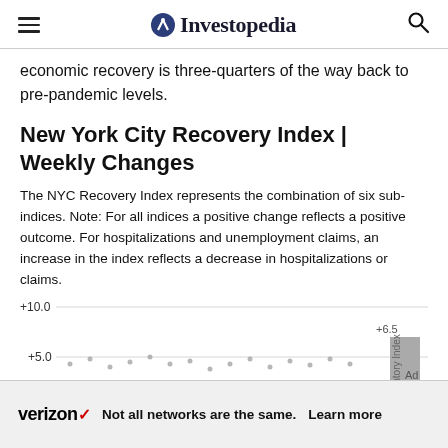Investopedia
economic recovery is three-quarters of the way back to pre-pandemic levels.
New York City Recovery Index | Weekly Changes
The NYC Recovery Index represents the combination of six sub-indices. Note: For all indices a positive change reflects a positive outcome. For hospitalizations and unemployment claims, an increase in the index reflects a decrease in hospitalizations or claims.
[Figure (bar-chart): Partial bar chart visible showing +10.0 and +5.0 gridlines, with +6.5 label visible and a bar. Chart is partially cut off by advertisement.]
[Figure (infographic): Verizon advertisement banner: 'Not all networks are the same. Learn more']